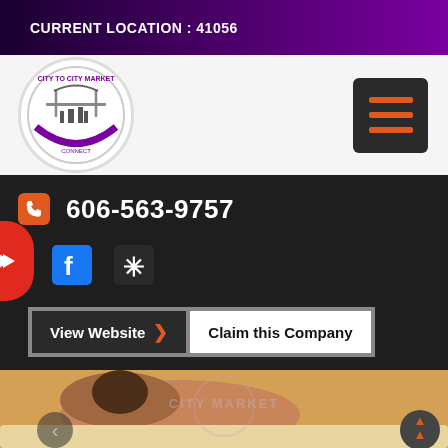CURRENT LOCATION : 41056
[Figure (logo): City to City Market circular logo with bridge and city skyline]
[Figure (other): Hamburger menu button, dark background with orange lines]
606-563-9757
[Figure (other): Facebook and Yelp social icons on dark background with red badge]
View Website  >   Claim this Company
[Figure (photo): Person receiving a massage, lying face down, with City to City Market watermark overlay]